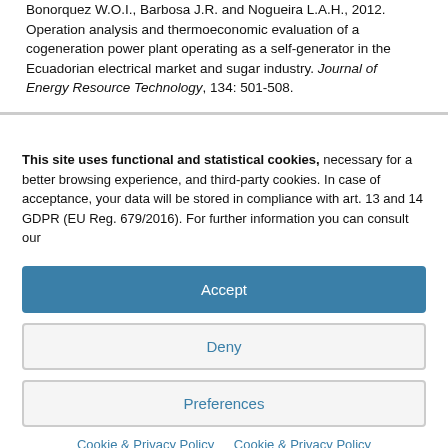Bonorquez W.O.I., Barbosa J.R. and Nogueira L.A.H., 2012. Operation analysis and thermoeconomic evaluation of a cogeneration power plant operating as a self-generator in the Ecuadorian electrical market and sugar industry. Journal of Energy Resource Technology, 134: 501-508.
This site uses functional and statistical cookies, necessary for a better browsing experience, and third-party cookies. In case of acceptance, your data will be stored in compliance with art. 13 and 14 GDPR (EU Reg. 679/2016). For further information you can consult our
Accept
Deny
Preferences
Cookie & Privacy Policy   Cookie & Privacy Policy